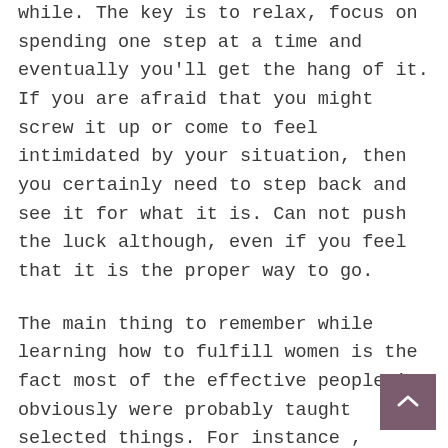while. The key is to relax, focus on spending one step at a time and eventually you'll get the hang of it. If you are afraid that you might screw it up or come to feel intimidated by your situation, then you certainly need to step back and see it for what it is. Can not push the luck although, even if you feel that it is the proper way to go.
The main thing to remember while learning how to fulfill women is the fact most of the effective people is obviously were probably taught selected things. For instance , Thomas Edison was very likely surrounded by a good amount of girls developing up and he made that big due to this fact. You should acquire a few suggestions from to came up to date on